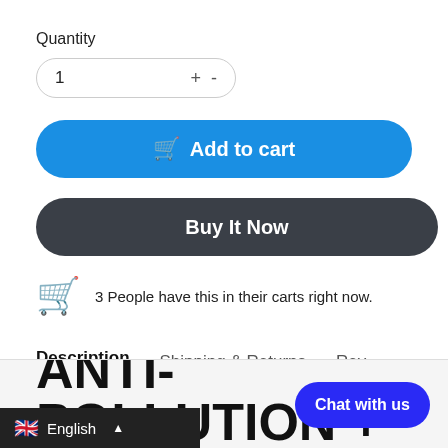Quantity
1 + -
🛒 Add to cart
Buy It Now
3 People have this in their carts right now.
Description   Shipping & Returns   Rev
BONDI'S PURE ANTI-POLLUTION +
Chat with us
English